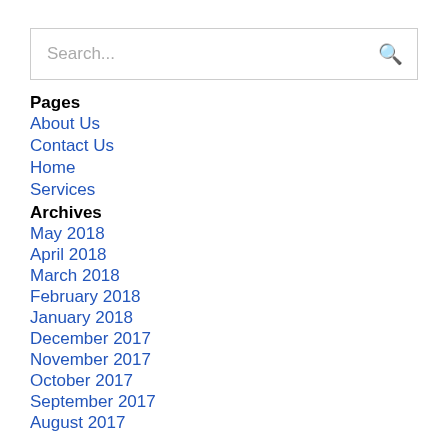Search...
Pages
About Us
Contact Us
Home
Services
Archives
May 2018
April 2018
March 2018
February 2018
January 2018
December 2017
November 2017
October 2017
September 2017
August 2017
July 2017
June 2017
May 2017
April 2017
March 2017
February 2017
January 2017